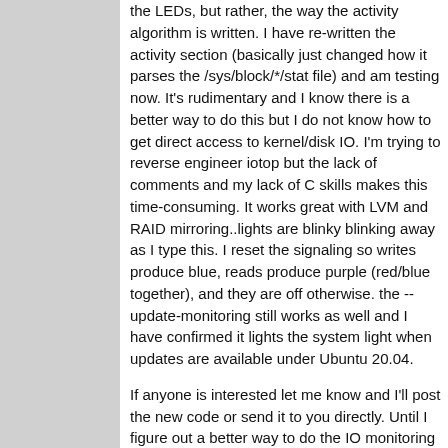the LEDs, but rather, the way the activity algorithm is written. I have re-written the activity section (basically just changed how it parses the /sys/block/*/stat file) and am testing now. It's rudimentary and I know there is a better way to do this but I do not know how to get direct access to kernel/disk IO. I'm trying to reverse engineer iotop but the lack of comments and my lack of C skills makes this time-consuming. It works great with LVM and RAID mirroring..lights are blinky blinking away as I type this. I reset the signaling so writes produce blue, reads produce purple (red/blue together), and they are off otherwise. the --update-monitoring still works as well and I have confirmed it lights the system light when updates are available under Ubuntu 20.04.
If anyone is interested let me know and I'll post the new code or send it to you directly. Until I figure out a better way to do the IO monitoring or I write an ex49x kernel module, I'm not going to publish just yet.